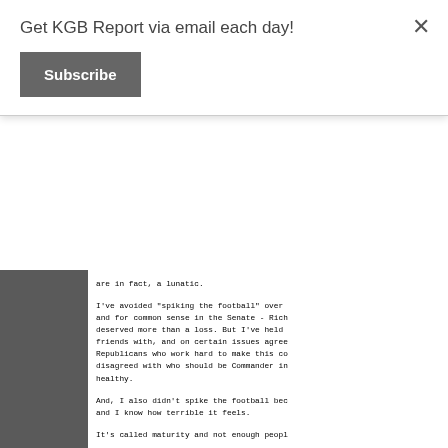Get KGB Report via email each day!
Subscribe
are in fact, a lunatic.
I've avoided "spiking the football" over and for common sense in the Senate - Rich deserved more than a loss. But I've held friends with, and on certain issues agree Republicans who work hard to make this co disagreed with who should be Commander in healthy.
And, I also didn't spike the football bec and I know how terrible it feels.
It's called maturity and not enough peopl
The following jaw punch is not directed a does it condone radicals on the Left. It fanatics who put party before country, co ideology before science and intellect.